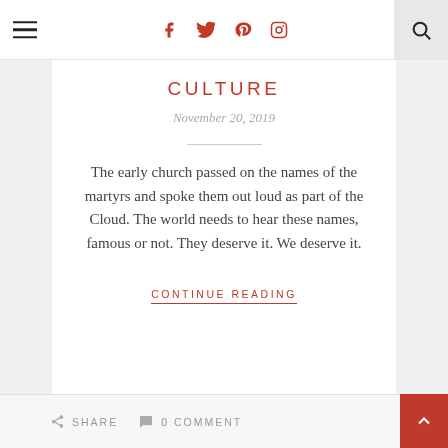Navigation bar with hamburger menu, social icons (Facebook, Twitter, Pinterest, Instagram), and search
CULTURE
November 20, 2019
The early church passed on the names of the martyrs and spoke them out loud as part of the Cloud. The world needs to hear these names, famous or not. They deserve it. We deserve it.
CONTINUE READING
SHARE   0 COMMENT